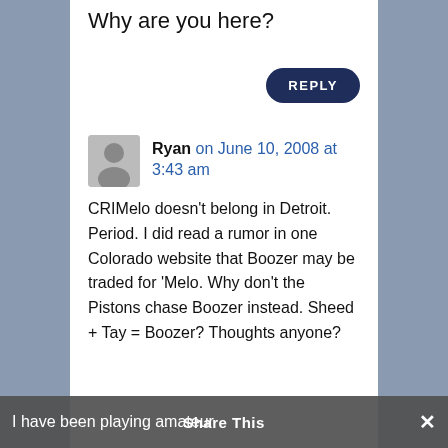Why are you here?
REPLY
Ryan on June 10, 2008 at 3:43 am
CRIMelo doesn't belong in Detroit. Period. I did read a rumor in one Colorado website that Boozer may be traded for 'Melo. Why don't the Pistons chase Boozer instead. Sheed + Tay = Boozer? Thoughts anyone?
I have been playing amateur
Share This